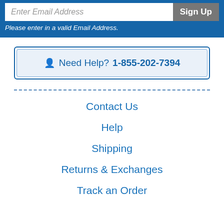Enter Email Address
Sign Up
Please enter in a valid Email Address.
Need Help? 1-855-202-7394
Contact Us
Help
Shipping
Returns & Exchanges
Track an Order